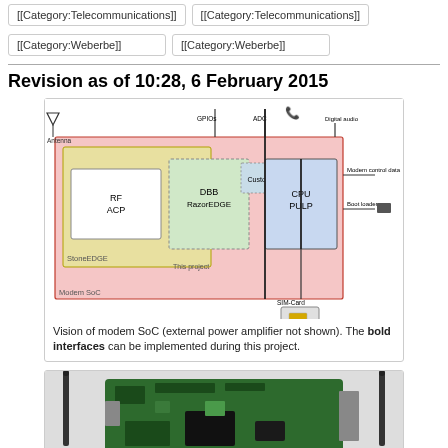[[Category:Telecommunications]]
[[Category:Telecommunications]]
[[Category:Weberbe]]
[[Category:Weberbe]]
Revision as of 10:28, 6 February 2015
[Figure (schematic): Vision of modem SoC block diagram showing RF/ACP (StoneEDGE), DBB/RazorEDGE, Custom interface, CPU/PULP blocks, with Antenna, GPIOs, ADC, Digital audio, Modem control data, Boot loader, SIM-Card connections, and Modem SoC / This project labels.]
Vision of modem SoC (external power amplifier not shown). The bold interfaces can be implemented during this project.
[Figure (photo): Photo of a circuit board with antennas (wireless development board).]